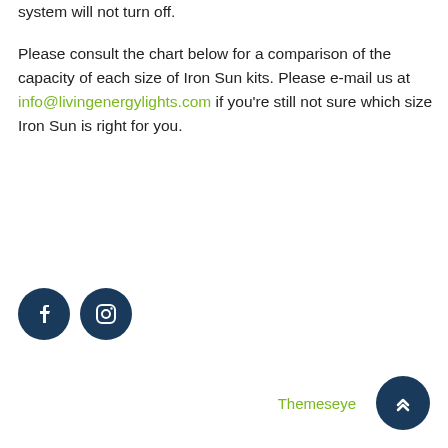system will not turn off. Please consult the chart below for a comparison of the capacity of each size of Iron Sun kits. Please e-mail us at info@livingenergylights.com if you're still not sure which size Iron Sun is right for you.
[Figure (other): Two circular dark blue social media icons: Facebook (f) and Instagram (camera outline)]
Themeseye